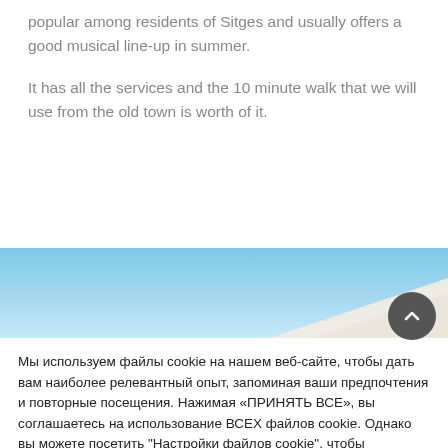popular among residents of Sitges and usually offers a good musical line-up in summer.
It has all the services and the 10 minute walk that we will use from the old town is worth of it.
[Figure (photo): Partial photo showing a blue sky and what appears to be a white canopy or sail structure]
Мы используем файлы cookie на нашем веб-сайте, чтобы дать вам наиболее релевантный опыт, запоминая ваши предпочтения и повторные посещения. Нажимая «ПРИНЯТЬ ВСЕ», вы соглашаетесь на использование ВСЕХ файлов cookie. Однако вы можете посетить "Настройки файлов cookie", чтобы предоставить контролируемое согласие.
PREFERENCIAS
ОТКЛЮЧИТЬ ВСЕ
ПРИНЯТЬ ВСЕ